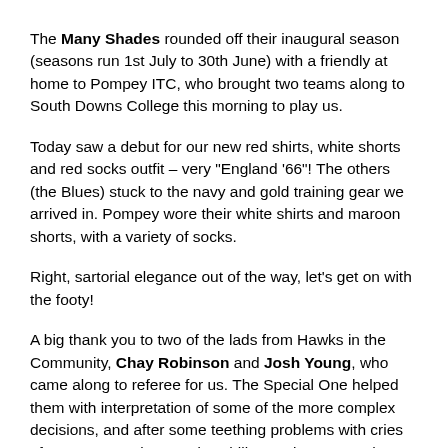The Many Shades rounded off their inaugural season (seasons run 1st July to 30th June) with a friendly at home to Pompey ITC, who brought two teams along to South Downs College this morning to play us.
Today saw a debut for our new red shirts, white shorts and red socks outfit – very "England '66"! The others (the Blues) stuck to the navy and gold training gear we arrived in. Pompey wore their white shirts and maroon shorts, with a variety of socks.
Right, sartorial elegance out of the way, let's get on with the footy!
A big thank you to two of the lads from Hawks in the Community, Chay Robinson and Josh Young, who came along to referee for us. The Special One helped them with interpretation of some of the more complex decisions, and after some teething problems with cries of "I wasn't running!" and suchlike roaring across the pitch, things settled into a steady tempo. Running is the new offside.
In spite of the heat of the day, the Many Shades were slow